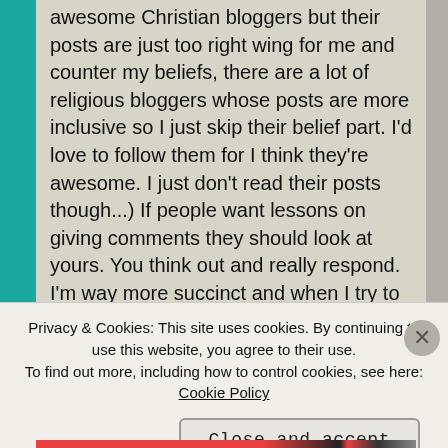awesome Christian bloggers but their posts are just too right wing for me and counter my beliefs, there are a lot of religious bloggers whose posts are more inclusive so I just skip their belief part. I'd love to follow them for I think they're awesome. I just don't read their posts though...) If people want lessons on giving comments they should look at yours. You think out and really respond. I'm way more succinct and when I try to explain what I mean I get tangled up. It's funny, I had a conversation last week with my family. I was explaining and my sister was, to my brother in law. My brother in law said that I say a sentence or
Privacy & Cookies: This site uses cookies. By continuing to use this website, you agree to their use. To find out more, including how to control cookies, see here: Cookie Policy